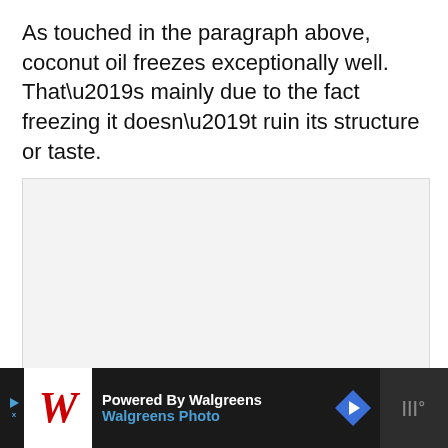As touched in the paragraph above, coconut oil freezes exceptionally well. That’s mainly due to the fact freezing it doesn’t ruin its structure or taste.
[Figure (other): Light gray rectangular placeholder area, likely for an embedded image or advertisement content]
Powered By Walgreens | Walgreens Photo [advertisement banner]